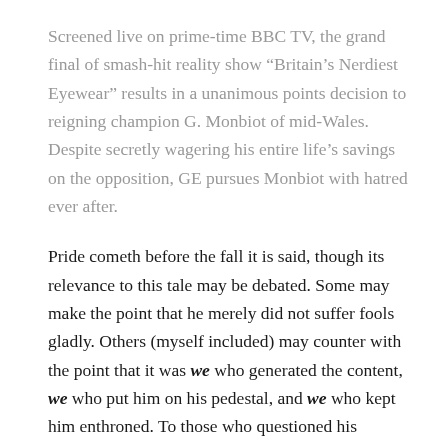Screened live on prime-time BBC TV, the grand final of smash-hit reality show “Britain’s Nerdiest Eyewear” results in a unanimous points decision to reigning champion G. Monbiot of mid-Wales. Despite secretly wagering his entire life’s savings on the opposition, GE pursues Monbiot with hatred ever after.
Pride cometh before the fall it is said, though its relevance to this tale may be debated. Some may make the point that he merely did not suffer fools gladly. Others (myself included) may counter with the point that it was we who generated the content, we who put him on his pedestal, and we who kept him enthroned. To those who questioned his acceptance of some sort of gratuity to attend a writers’ conference in the Middle East, he turned his scorn:
And to those of you muppets who accuse me of any kind